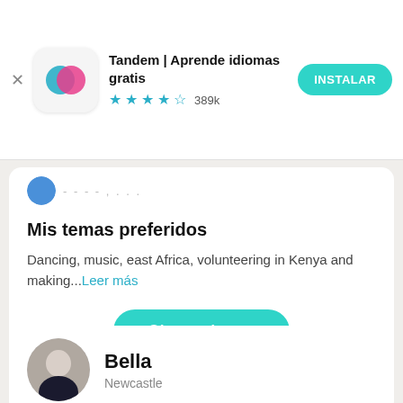[Figure (screenshot): App store ad banner for Tandem language learning app with icon, name, star rating 389k, and INSTALAR button]
Mis temas preferidos
Dancing, music, east Africa, volunteering in Kenya and making...Leer más
Obtener la app
Bella
Newcastle